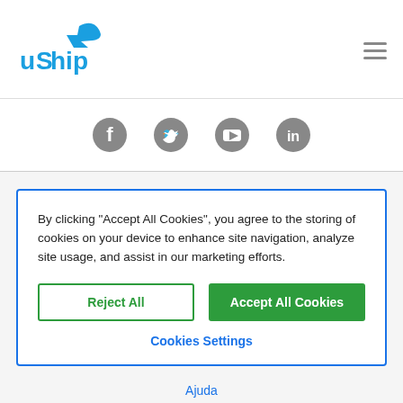[Figure (logo): uShip logo with blue arrow and text]
[Figure (other): Hamburger menu icon (three horizontal lines)]
[Figure (other): Social media icons: Facebook, Twitter, YouTube, LinkedIn]
By clicking “Accept All Cookies”, you agree to the storing of cookies on your device to enhance site navigation, analyze site usage, and assist in our marketing efforts.
Reject All
Accept All Cookies
Cookies Settings
Ajuda